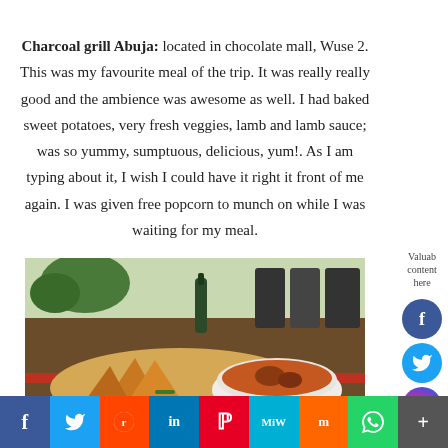Charcoal grill Abuja: located in chocolate mall, Wuse 2. This was my favourite meal of the trip. It was really really good and the ambience was awesome as well. I had baked sweet potatoes, very fresh veggies, lamb and lamb sauce; was so yummy, sumptuous, delicious, yum!. As I am typing about it, I wish I could have it right it front of me again. I was given free popcorn to munch on while I was waiting for my meal.
[Figure (photo): Food plate with baked sweet potatoes, fresh vegetables, lamb and a white bowl of lamb sauce on a restaurant table]
f  Twitter  Reddit  in  Pinterest  MW  Mix  WhatsApp  +